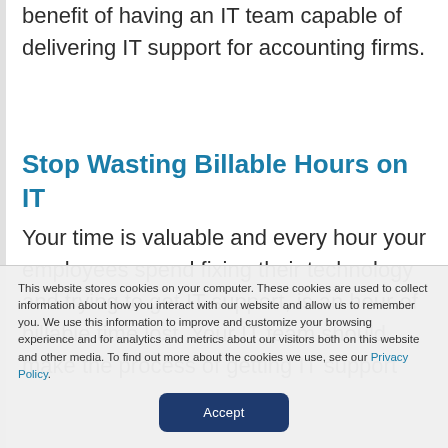benefit of having an IT team capable of delivering IT support for accounting firms.
Stop Wasting Billable Hours on IT
Your time is valuable and every hour your employees spend fixing their technology and trying to get IT support, is an hour of billable time lost. Your IT team should make the process of getting IT support
This website stores cookies on your computer. These cookies are used to collect information about how you interact with our website and allow us to remember you. We use this information to improve and customize your browsing experience and for analytics and metrics about our visitors both on this website and other media. To find out more about the cookies we use, see our Privacy Policy.
Accept